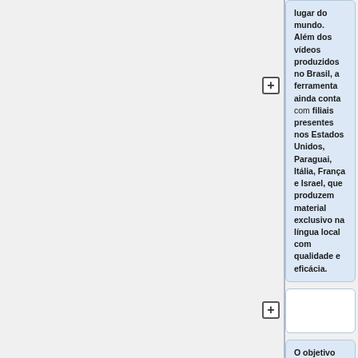lugar do mundo. Além dos vídeos produzidos no Brasil, a ferramenta ainda conta com filiais presentes nos Estados Unidos, Paraguai, Itália, França e Israel, que produzem material exclusivo na língua local com qualidade e eficácia.
O objetivo da WebTVCN é